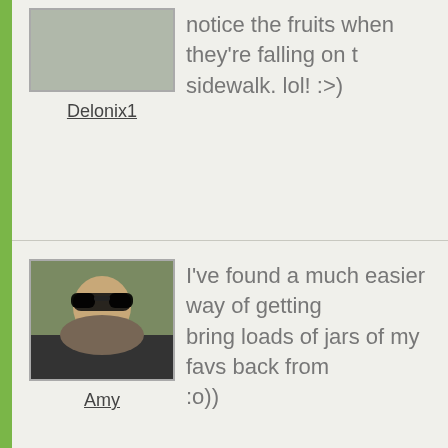notice the fruits when they're falling on the sidewalk. lol! :>)
Delonix1
[Figure (photo): Avatar placeholder for user Delonix1]
[Figure (photo): Avatar photo of Amy, a person wearing sunglasses outdoors]
Amy
I've found a much easier way of getting bring loads of jars of my favs back from :o))
[Figure (photo): Avatar photo of Dottydaisy2, a purple flower]
Dottydaisy2
Sound idea Amy, must pm you re trip ne Cherbourg.
[Figure (photo): Avatar photo of another user, a person with dark hair]
Have you cured them yourself in the pas